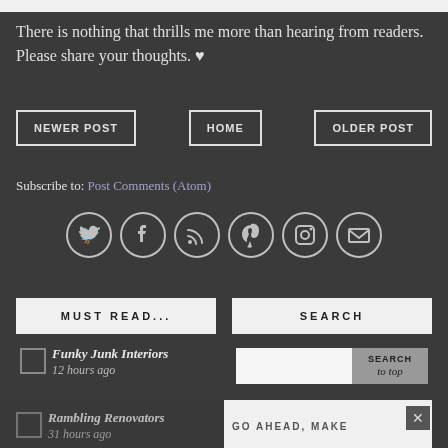There is nothing that thrills me more than hearing from readers. Please share your thoughts. ♥
NEWER POST
HOME
OLDER POST
Subscribe to: Post Comments (Atom)
[Figure (infographic): Six circular social media icons: Twitter, Facebook, RSS, Pinterest, Instagram, Email]
MUST READ...
Funky Junk Interiors
12 hours ago
Rambling Renovators
31 hours ago
SEARCH
GO AHEAD, MAKE